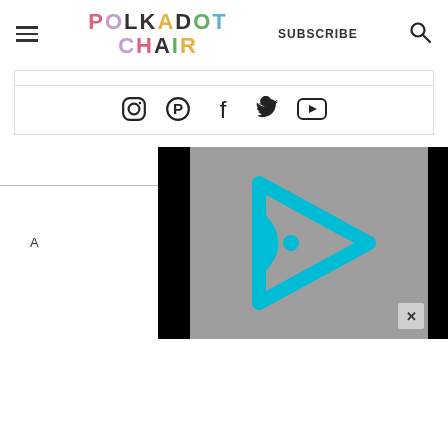POLKADOT CHAIR — SUBSCRIBE
[Figure (illustration): Social media icons row: Instagram, Pinterest, Facebook, Twitter, YouTube]
[Figure (screenshot): Video player overlay showing a cyan/blue play button logo on gray background with black letterbox bars and a close (X) button]